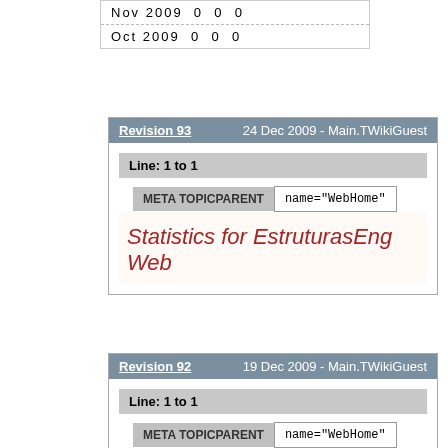| Nov 2009  0  0  0 |
| Oct 2009  0  0  0 |
Revision 93    24 Dec 2009 - Main.TWikiGuest
Line: 1 to 1
META TOPICPARENT   name="WebHome"
Statistics for EstruturasEng Web
Revision 92    19 Dec 2009 - Main.TWikiGuest
Line: 1 to 1
META TOPICPARENT   name="WebHome"